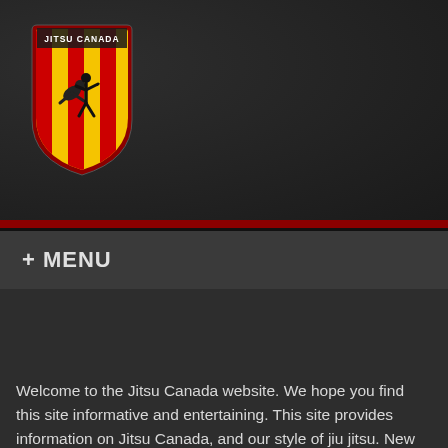[Figure (logo): Jitsu Canada logo: shield shape with red and yellow stripes, black martial arts figures (judo throw silhouette), text 'JITSU CANADA' around top arc]
+ MENU
Welcome to the Jitsu Canada website. We hope you find this site informative and entertaining. This site provides information on Jitsu Canada, and our style of jiu jitsu. New participants, whether experienced martial artists or complete beginners, are always